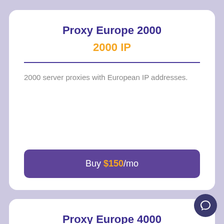Proxy Europe 2000
2000 IP
2000 server proxies with European IP addresses.
Buy $150/mo
Proxy Europe 4000
4000 IP